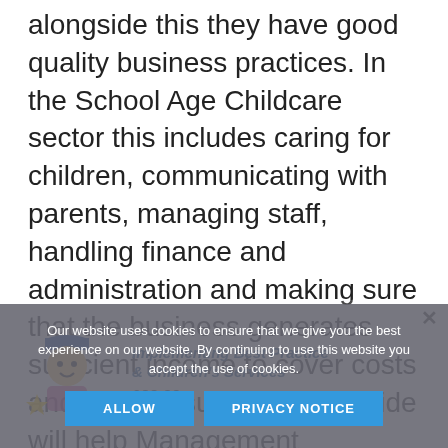alongside this they have good quality business practices. In the School Age Childcare sector this includes caring for children, communicating with parents, managing staff, handling finance and administration and making sure that the business generates sufficient income to cover costs and make a surplus. This guide will help Management Committees and senior staff to get the balance right.
[Figure (screenshot): Cookie consent banner with 'ALLOW' and 'PRIVACY NOTICE' buttons overlaying a product listing for 'Implementing Best Practice' at £22.99, with a product thumbnail visible behind the banner.]